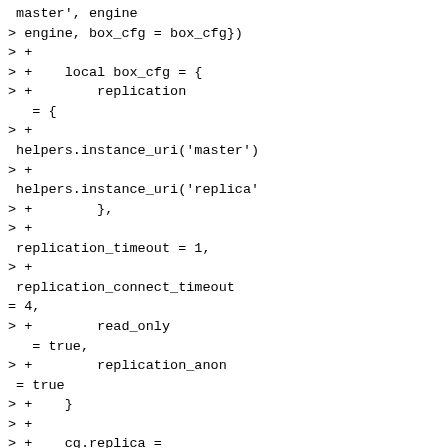> master', engine
> engine, box_cfg = box_cfg})
> +
> +    local box_cfg = {
> +        replication
   = {
> +
 helpers.instance_uri('master')
> +
 helpers.instance_uri('replica'
> +        },
> +
 replication_timeout = 1,
> +
 replication_connect_timeout
= 4,
> +        read_only
   = true,
> +        replication_anon
 = true
> +    }
> +
> +    cg.replica =
cg.cluster:build_server({alias
= 'replica', engine =
> engine, box_cfg = box_cfg})
> +
> +
 cg.cluster:add_server(cg.maste
> +
 cg.cluster:add_server(cg.repl